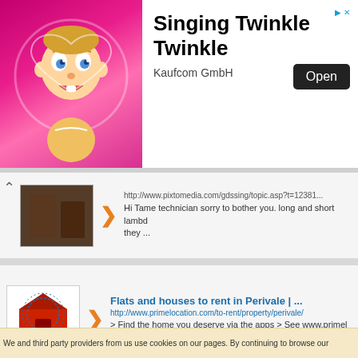[Figure (screenshot): Advertisement banner for 'Singing Twinkle Twinkle' app by Kaufcom GmbH, showing animated baby character on pink background with Open button]
http://www.pixtomedia.com/gdssing/topic.asp?t=12381... Hi Tame technician sorry to bother you. long and short lambda they ...
Flats and houses to rent in Perivale | ...
http://www.primelocation.com/to-rent/property/perivale/
> Find the home you deserve via the apps > See www.primelocation.com properties to ...
Honey, I Blew Up the Kid title sequence - ...
http://www.watchthetitles.com/articles/0045-Honey_I_Blew_U...
The animated title sequence of the 1992 family comedy Honey I Blew Up the Kid designed and ...
We and third party providers from us use cookies on our pages. By continuing to browse our